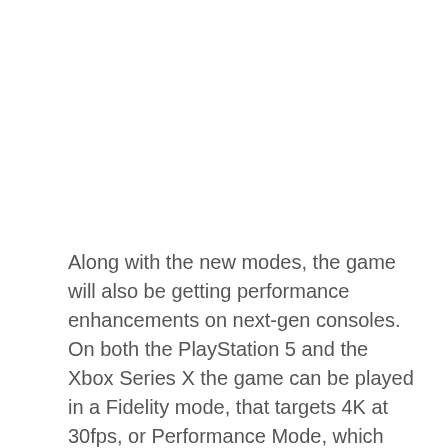Along with the new modes, the game will also be getting performance enhancements on next-gen consoles. On both the PlayStation 5 and the Xbox Series X the game can be played in a Fidelity mode, that targets 4K at 30fps, or Performance Mode, which aims for 1440p at 60 fps. On Xbox Series S, the game will run at 1080p at 30fps. Needless to say, all next-gen versions will feature quicker load times and improved texture resolution. On the PS5 specifically, Maid of Sker takes advantage of the DualSense controller's Adaptive